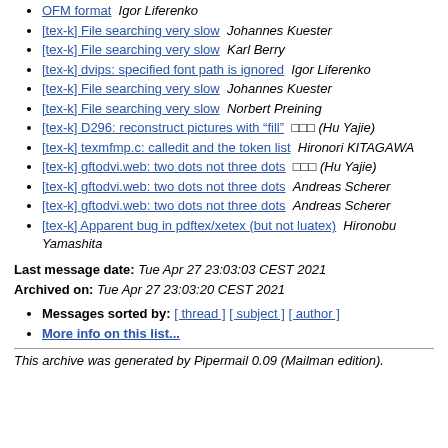[tex-k] ... OFM format  Igor Liferenko
[tex-k] File searching very slow  Johannes Kuester
[tex-k] File searching very slow  Karl Berry
[tex-k] dvips: specified font path is ignored  Igor Liferenko
[tex-k] File searching very slow  Johannes Kuester
[tex-k] File searching very slow  Norbert Preining
[tex-k] D296: reconstruct pictures with "fill"  □□□ (Hu Yajie)
[tex-k] texmfmp.c: calledit and the token list  Hironori KITAGAWA
[tex-k] gftodvi.web: two dots not three dots  □□□ (Hu Yajie)
[tex-k] gftodvi.web: two dots not three dots  Andreas Scherer
[tex-k] gftodvi.web: two dots not three dots  Andreas Scherer
[tex-k] Apparent bug in pdftex/xetex (but not luatex)  Hironobu Yamashita
Last message date: Tue Apr 27 23:03:03 CEST 2021
Archived on: Tue Apr 27 23:03:20 CEST 2021
Messages sorted by: [ thread ] [ subject ] [ author ]
More info on this list...
This archive was generated by Pipermail 0.09 (Mailman edition).